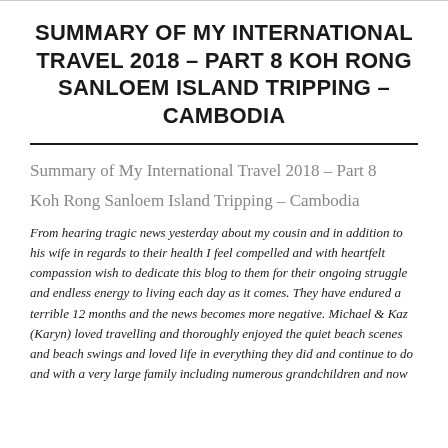SUMMARY OF MY INTERNATIONAL TRAVEL 2018 – PART 8 KOH RONG SANLOEM ISLAND TRIPPING – CAMBODIA
Summary of My International Travel 2018 – Part 8
Koh Rong Sanloem Island Tripping – Cambodia
From hearing tragic news yesterday about my cousin and in addition to his wife in regards to their health I feel compelled and with heartfelt compassion wish to dedicate this blog to them for their ongoing struggle and endless energy to living each day as it comes. They have endured a terrible 12 months and the news becomes more negative. Michael & Kaz (Karyn) loved travelling and thoroughly enjoyed the quiet beach scenes and beach swings and loved life in everything they did and continue to do and with a very large family including numerous grandchildren and now